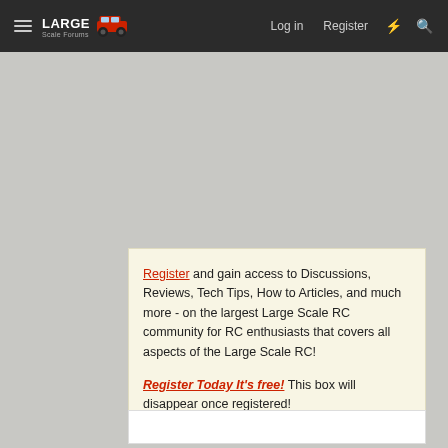Large Scale Forums | Log in | Register
Register and gain access to Discussions, Reviews, Tech Tips, How to Articles, and much more - on the largest Large Scale RC community for RC enthusiasts that covers all aspects of the Large Scale RC!
Register Today It's free! This box will disappear once registered!